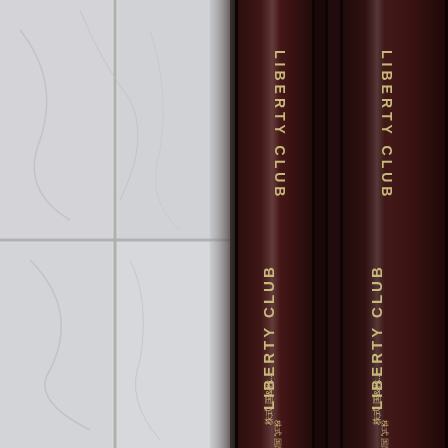[Figure (photo): Close-up photograph of two dark brown book spines with gold embossed text reading 'LIBERTY CLUB' vertically, with small Japanese/Chinese characters at the bottom. The spines are glossy dark maroon/brown, positioned against a light grey marble tile background visible on the left side.]